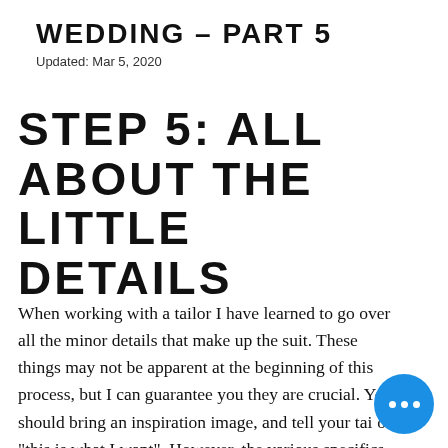WEDDING - PART 5
Updated: Mar 5, 2020
STEP 5: ALL ABOUT THE LITTLE DETAILS
When working with a tailor I have learned to go over all the minor details that make up the suit. These things may not be apparent at the beginning of this process, but I can guarantee you they are crucial. You should bring an inspiration image, and tell your tailor "this is what I want". However, the various specifics that need to be